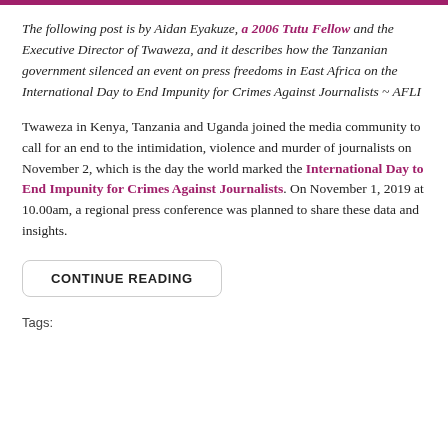The following post is by Aidan Eyakuze, a 2006 Tutu Fellow and the Executive Director of Twaweza, and it describes how the Tanzanian government silenced an event on press freedoms in East Africa on the International Day to End Impunity for Crimes Against Journalists ~ AFLI
Twaweza in Kenya, Tanzania and Uganda joined the media community to call for an end to the intimidation, violence and murder of journalists on November 2, which is the day the world marked the International Day to End Impunity for Crimes Against Journalists. On November 1, 2019 at 10.00am, a regional press conference was planned to share these data and insights.
CONTINUE READING
Tags: